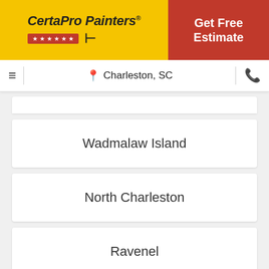[Figure (logo): CertaPro Painters logo on yellow background with red stars bar]
Get Free Estimate
Charleston, SC
Wadmalaw Island
North Charleston
Ravenel
Adams Run